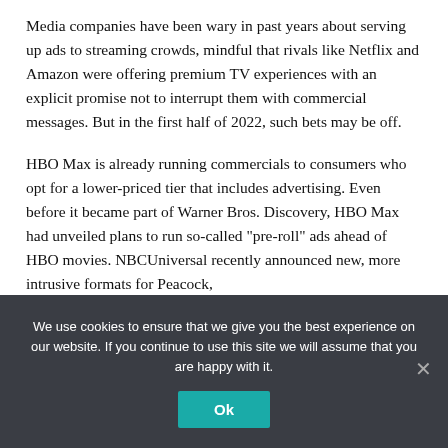Media companies have been wary in past years about serving up ads to streaming crowds, mindful that rivals like Netflix and Amazon were offering premium TV experiences with an explicit promise not to interrupt them with commercial messages. But in the first half of 2022, such bets may be off.
HBO Max is already running commercials to consumers who opt for a lower-priced tier that includes advertising. Even before it became part of Warner Bros. Discovery, HBO Max had unveiled plans to run so-called "pre-roll" ads ahead of HBO movies. NBCUniversal recently announced new, more intrusive formats for Peacock,
We use cookies to ensure that we give you the best experience on our website. If you continue to use this site we will assume that you are happy with it.